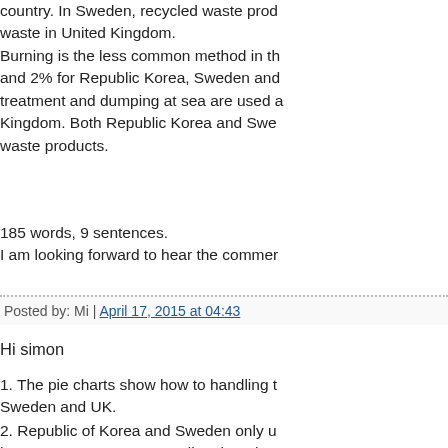country. In Sweden, recycled waste prod... waste in United Kingdom. Burning is the less common method in th... and 2% for Republic Korea, Sweden and... treatment and dumping at sea are used a... Kingdom. Both Republic Korea and Swe... waste products.
185 words, 9 sentences.
I am looking forward to hear the commer...
Posted by: Mi | April 17, 2015 at 04:43
Hi simon
1. The pie charts show how to handling t... Sweden and UK.
2. Republic of Korea and Sweden only u... has more way except recycling though. More percentage of recycling is much les... country try to increase of mount of recycl... burried trash.
It's my first post on ielts.simon.com...